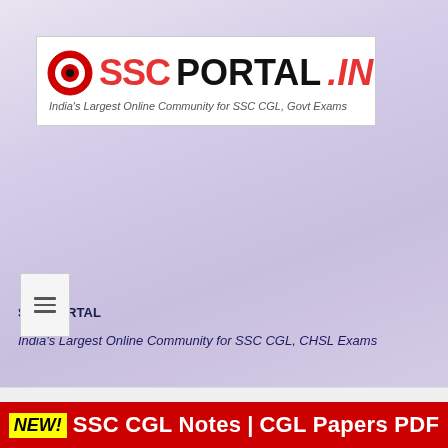[Figure (logo): SSCPortal.in logo with red target icon, red SSC text, black PORTAL text, and red italic .IN text. Tagline: India's Largest Online Community for SSC CGL, Govt Exams]
SSC PORTAL
India's Largest Online Community for SSC CGL, CHSL Exams
[Figure (other): Hamburger menu icon (three horizontal lines) in a small grey box]
NEW! SSC CGL Notes | CGL Papers PDF